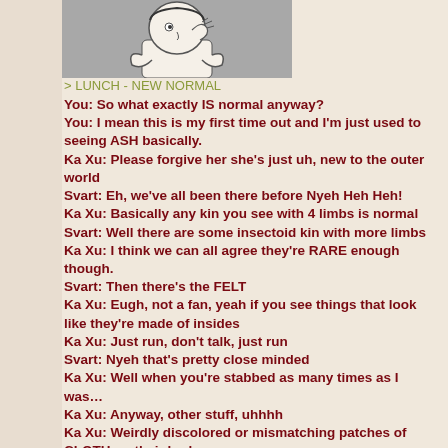[Figure (illustration): A cartoon illustration of a figure with hand near face in a thinking or hushing pose, shown from the waist up against a grey background.]
> LUNCH - NEW NORMAL
You: So what exactly IS normal anyway?
You: I mean this is my first time out and I'm just used to seeing ASH basically.
Ka Xu: Please forgive her she's just uh, new to the outer world
Svart: Eh, we've all been there before Nyeh Heh Heh!
Ka Xu: Basically any kin you see with 4 limbs is norma...
Svart: Well there are some insectoid kin with more limb...
Ka Xu: I think we can all agree they're RARE enough though.
Svart: Then there's the FELT
Ka Xu: Eugh, not a fan, yeah if you see things that look like they're made of insides
Ka Xu: Just run, don't talk, just run
Svart: Nyeh that's pretty close minded
Ka Xu: Well when you're stabbed as many times as I was…
Ka Xu: Anyway, other stuff, uhhhh
Ka Xu: Weirdly discolored or mismatching patches of CLOTH on their body
Svart: Strange stitching, though that could be just SURGERY and they're HEALING